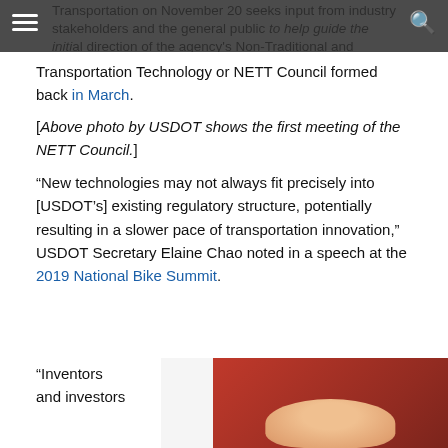Transportation on November 20 seeks input from industry stakeholders and the general public to help guide the initial direction of the agency's Non-Traditional and Emerging Transportation Technology or NETT Council formed back in March.
[Above photo by USDOT shows the first meeting of the NETT Council.]
“New technologies may not always fit precisely into [USDOT’s] existing regulatory structure, potentially resulting in a slower pace of transportation innovation,” USDOT Secretary Elaine Chao noted in a speech at the 2019 National Bike Summit.
“Inventors and investors
[Figure (photo): Photo of a person at a red podium or background, likely a speaking event (partially cropped).]